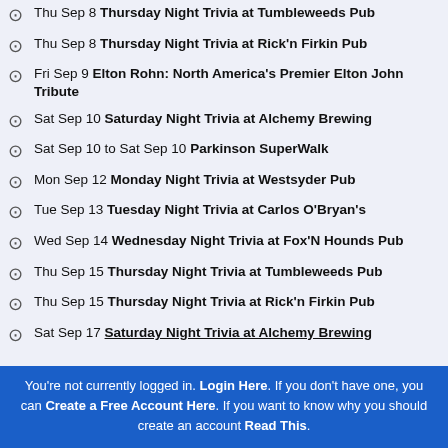Thu Sep 8 Thursday Night Trivia at Tumbleweeds Pub
Thu Sep 8 Thursday Night Trivia at Rick'n Firkin Pub
Fri Sep 9 Elton Rohn: North America's Premier Elton John Tribute
Sat Sep 10 Saturday Night Trivia at Alchemy Brewing
Sat Sep 10 to Sat Sep 10 Parkinson SuperWalk
Mon Sep 12 Monday Night Trivia at Westsyder Pub
Tue Sep 13 Tuesday Night Trivia at Carlos O'Bryan's
Wed Sep 14 Wednesday Night Trivia at Fox'N Hounds Pub
Thu Sep 15 Thursday Night Trivia at Tumbleweeds Pub
Thu Sep 15 Thursday Night Trivia at Rick'n Firkin Pub
Sat Sep 17 Saturday Night Trivia at Alchemy Brewing
You're not currently logged in. Login Here. If you don't have one, you can Create a Free Account Here. If you want to know why you should create an account Read This.